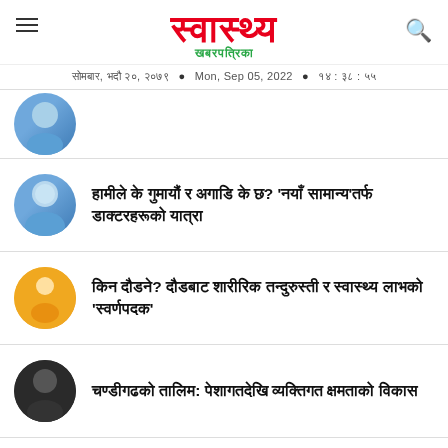स्वास्थ्य खबरपत्रिका — सोमबार, भदौ २०, २०७९ • Mon, Sep 05, 2022 • १४ : ३८ : ५५
[partial article with avatar]
हामीले के गुमायौं र अगाडि के छ? 'नयाँ सामान्य'तर्फ डाक्टरहरूको यात्रा
किन दौडने? दौडबाट शारीरिक तन्दुरुस्ती र स्वास्थ्य लाभको 'स्वर्णपदक'
चण्डीगढको तालिम: पेशागतदेखि व्यक्तिगत क्षमताको विकास
[partial fourth article]